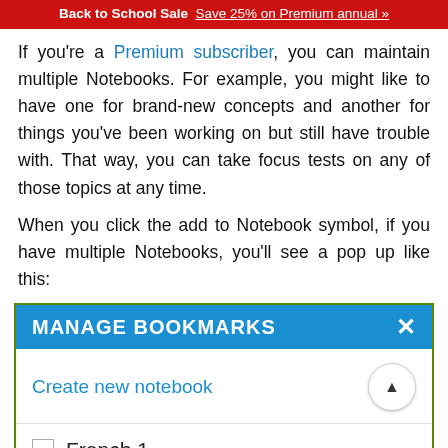Back to School Sale  Save 25% on Premium annual »
If you're a Premium subscriber, you can maintain multiple Notebooks. For example, you might like to have one for brand-new concepts and another for things you've been working on but still have trouble with. That way, you can take focus tests on any of those topics at any time.
When you click the add to Notebook symbol, if you have multiple Notebooks, you'll see a pop up like this:
[Figure (screenshot): A popup dialog titled 'MANAGE BOOKMARKS' with a close X button, a 'Create new notebook' link with an up-arrow button, a horizontal divider, and a notebook entry with a checkbox labeled 'French 1'.]